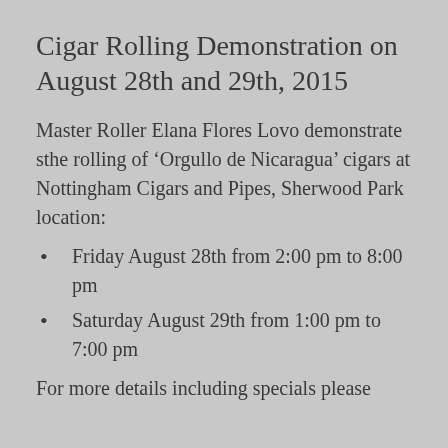Cigar Rolling Demonstration on August 28th and 29th, 2015
Master Roller Elana Flores Lovo demonstrate sthe rolling of ‘Orgullo de Nicaragua’ cigars at Nottingham Cigars and Pipes, Sherwood Park location:
Friday August 28th from 2:00 pm to 8:00 pm
Saturday August 29th from 1:00 pm to 7:00 pm
For more details including specials please